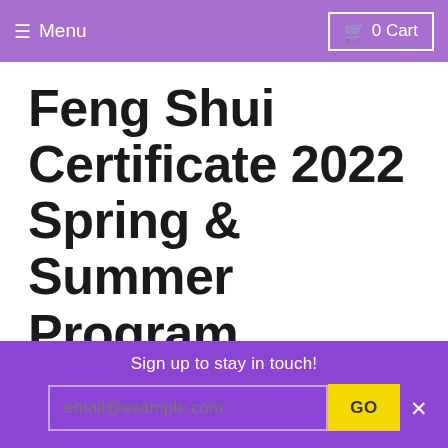☰ Menu   🛒 0 Cart
Feng Shui Certificate 2022 Spring & Summer Program
This program will be great for all walks of lives with different knowledge levels of Feng Shui, and for those who have been working
Sign up to stay in touch!